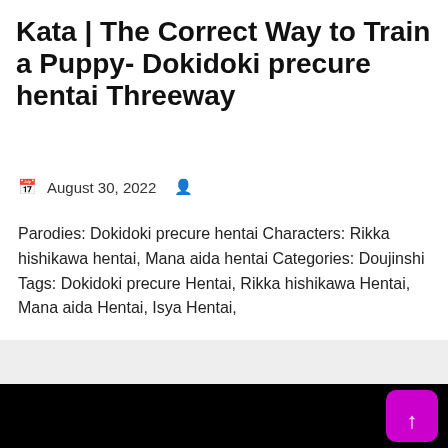Kata | The Correct Way to Train a Puppy- Dokidoki precure hentai Threeway
August 30, 2022
Parodies: Dokidoki precure hentai Characters: Rikka hishikawa hentai, Mana aida hentai Categories: Doujinshi Tags: Dokidoki precure Hentai, Rikka hishikawa Hentai, Mana aida Hentai, Isya Hentai,
View Hentai
[Figure (other): Black section at the bottom of the page with a magenta scroll-to-top button in the bottom-right corner]